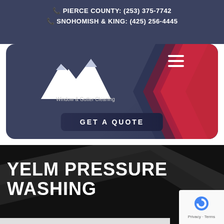PIERCE COUNTY: (253) 375-7742
SNOHOMISH & KING: (425) 256-4445
[Figure (logo): Rainier Window & Gutter Cleaning logo with mountain silhouette, chevron/arrow graphic in dark red and maroon, hamburger menu icon, and GET A QUOTE button]
YELM PRESSURE WASHING